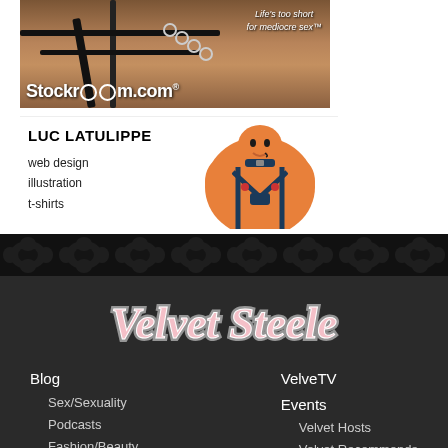[Figure (illustration): Stockroom.com advertisement banner with dark background showing leather-clad figures. Text overlay reads 'Life's too short for mediocre sex™' and displays stockroom.com logo.]
[Figure (illustration): Luc Latulippe advertisement showing name in bold with services listed: web design, illustration, t-shirts. Features a cartoon illustration of a muscular man in leather harness.]
[Figure (illustration): Dark patterned divider strip with black background and subtle texture pattern.]
[Figure (logo): Velvet Steele logo in cursive pink/white text on dark background.]
Blog
Sex/Sexuality
Podcasts
Fashion/Beauty
VelveTV
Events
Velvet Hosts
Velvet Recommends